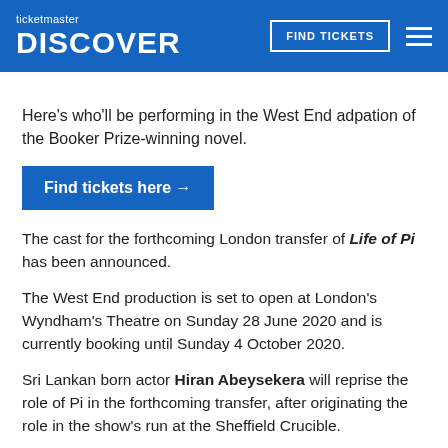ticketmaster DISCOVER | FIND TICKETS
Here's who'll be performing in the West End adpation of the Booker Prize-winning novel.
Find tickets here →
The cast for the forthcoming London transfer of Life of Pi has been announced.
The West End production is set to open at London's Wyndham's Theatre on Sunday 28 June 2020 and is currently booking until Sunday 4 October 2020.
Sri Lankan born actor Hiran Abeysekera will reprise the role of Pi in the forthcoming transfer, after originating the role in the show's run at the Sheffield Crucible.